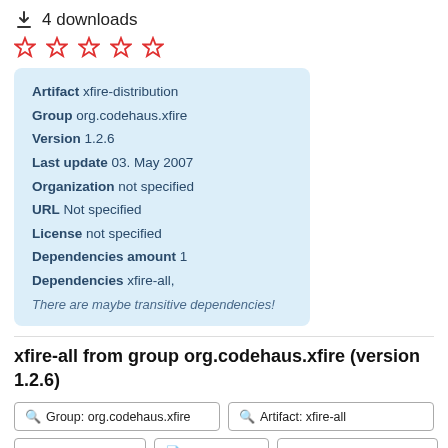4 downloads
[Figure (other): Five red outline stars (rating widget)]
Artifact xfire-distribution
Group org.codehaus.xfire
Version 1.2.6
Last update 03. May 2007
Organization not specified
URL Not specified
License not specified
Dependencies amount 1
Dependencies xfire-all,
There are maybe transitive dependencies!
xfire-all from group org.codehaus.xfire (version 1.2.6)
Group: org.codehaus.xfire
Artifact: xfire-all
Show all versions
Show source
Show build tool code
Download xfire-all.jar (1.2.6)
Add to Project
10 downloads